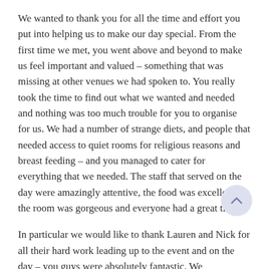We wanted to thank you for all the time and effort you put into helping us to make our day special. From the first time we met, you went above and beyond to make us feel important and valued – something that was missing at other venues we had spoken to. You really took the time to find out what we wanted and needed and nothing was too much trouble for you to organise for us. We had a number of strange diets, and people that needed access to quiet rooms for religious reasons and breast feeding – and you managed to cater for everything that we needed. The staff that served on the day were amazingly attentive, the food was excellent, the room was gorgeous and everyone had a great time.
In particular we would like to thank Lauren and Nick for all their hard work leading up to the event and on the day – you guys were absolutely fantastic. We recommend the Golden O...